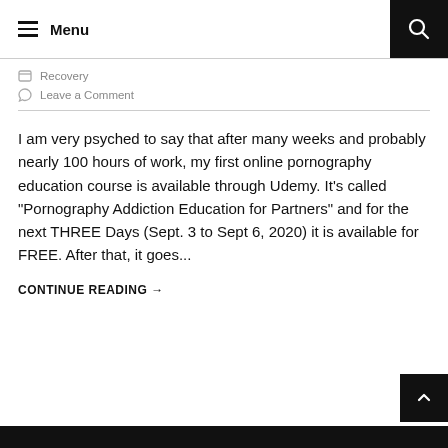Menu
Recovery
Leave a Comment
I am very psyched to say that after many weeks and probably nearly 100 hours of work, my first online pornography education course is available through Udemy. It's called "Pornography Addiction Education for Partners" and for the next THREE Days (Sept. 3 to Sept 6, 2020) it is available for FREE. After that, it goes...
CONTINUE READING →